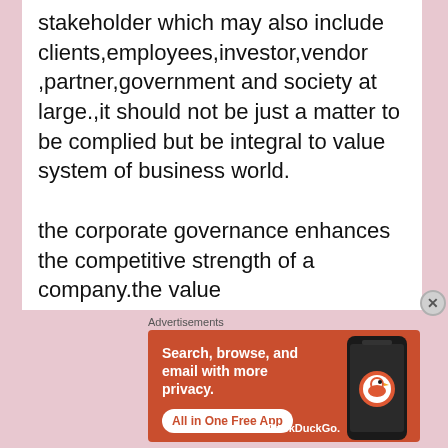stakeholder which may also include clients,employees,investor,vendor ,partner,government and society at large.,it should not be just a matter to be complied but be integral to value system of business world.

the corporate governance enhances the competitive strength of a company.the value
Advertisements
[Figure (screenshot): DuckDuckGo advertisement banner with orange background. Text: 'Search, browse, and email with more privacy. All in One Free App'. Shows a smartphone with DuckDuckGo logo and branding.]